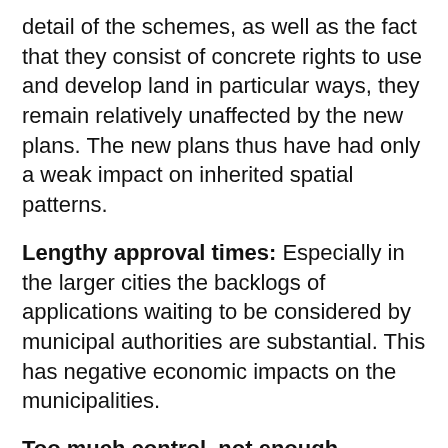detail of the schemes, as well as the fact that they consist of concrete rights to use and develop land in particular ways, they remain relatively unaffected by the new plans. The new plans thus have had only a weak impact on inherited spatial patterns.
Lengthy approval times: Especially in the larger cities the backlogs of applications waiting to be considered by municipal authorities are substantial. This has negative economic impacts on the municipalities.
Too much control, not enough facilitation: The emphasis in local government has been on controlling land development as opposed to facilitating it. This has become starkly evident in the era of IDPs, where municipalities have anticipated often ambitious development projects in their plans but have not had the means to ensure that they actually are implemented. This has led to a sense of impotence at the local...